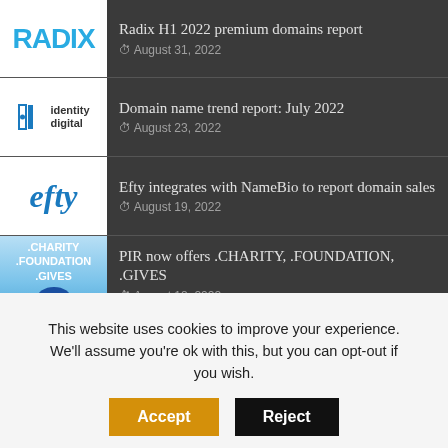Radix H1 2022 premium domains report — August 31, 2022
Domain name trend report: July 2022 — August 23, 2022
Efty integrates with NameBio to report domain sales — August 19, 2022
PIR now offers .CHARITY, .FOUNDATION, .GIVES — August 18, 2022
Dan.com transitions to GoDaddy's CashParking...
This website uses cookies to improve your experience. We'll assume you're ok with this, but you can opt-out if you wish.